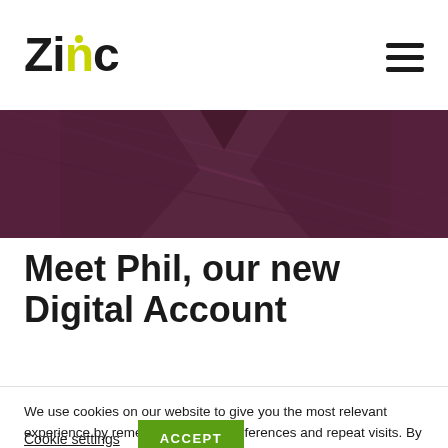Zinc
[Figure (photo): Dark purple/maroon fabric or suit jacket, cropped hero image at top of page]
Meet Phil, our new Digital Account
We use cookies on our website to give you the most relevant experience by remembering your preferences and repeat visits. By clicking “Accept”, you consent to the use of ALL the cookies.
Cookie settings  ACCEPT